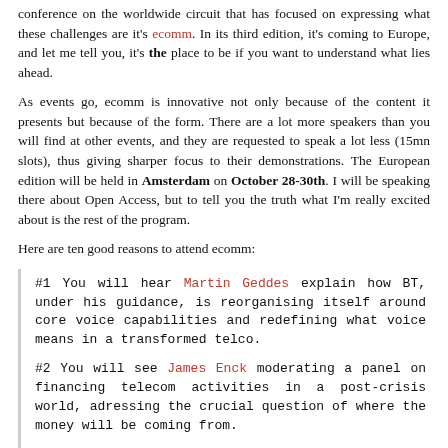conference on the worldwide circuit that has focused on expressing what these challenges are it's ecomm. In its third edition, it's coming to Europe, and let me tell you, it's the place to be if you want to understand what lies ahead.
As events go, ecomm is innovative not only because of the content it presents but because of the form. There are a lot more speakers than you will find at other events, and they are requested to speak a lot less (15mn slots), thus giving sharper focus to their demonstrations. The European edition will be held in Amsterdam on October 28-30th. I will be speaking there about Open Access, but to tell you the truth what I'm really excited about is the rest of the program.
Here are ten good reasons to attend ecomm:
#1 You will hear Martin Geddes explain how BT, under his guidance, is reorganising itself around core voice capabilities and redefining what voice means in a transformed telco.
#2 You will see James Enck moderating a panel on financing telecom activities in a post-crisis world, adressing the crucial question of where the money will be coming from.
#3 You will listen to Idate's Julien Salanave detail the positioning scenarios for future telcos (and according to the title of his speech, one of these positions might be 'six feet under'.)
#4 You will understand how - according to Dean Bubley - legacy voice business models are still polluting the LTE ecosystem in its infancy.
#5 You will witness Rudolf van der Berg detailing his views on how interconnection will evolve as part of the telco transformation (whether telcos like it or not...)